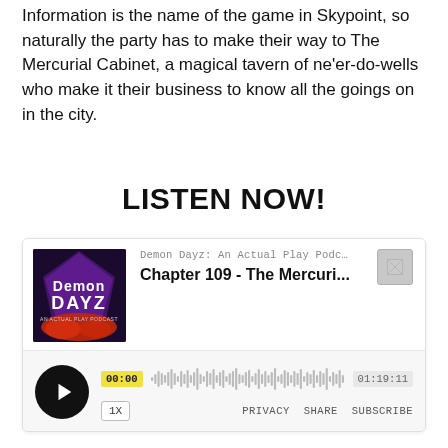Information is the name of the game in Skypoint, so naturally the party has to make their way to The Mercurial Cabinet, a magical tavern of ne’er-do-wells who make it their business to know all the goings on in the city.
LISTEN NOW!
[Figure (screenshot): Embedded audio player widget for 'Demon Dayz: An Actual Play Podcast' showing episode 'Chapter 109 - The Mercuri...' with album art, waveform, timecodes 00:00 and 01:19:11, playback speed 1X, and links for PRIVACY, SHARE, SUBSCRIBE.]